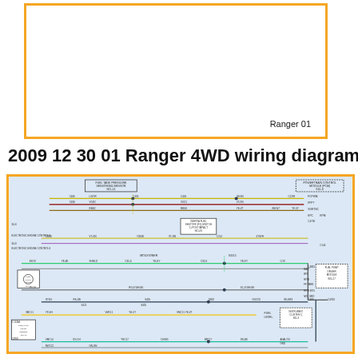[Figure (engineering-diagram): Empty white box with orange border, labeled 'Ranger 01' at bottom right, representing a wiring diagram placeholder.]
2009 12 30 01 Ranger 4WD wiring diagram2
[Figure (engineering-diagram): Ford Ranger 4WD fuel system wiring diagram showing fuel tank pressure sensor, inertia fuel shutoff switch, fuel pump motor, fuel pump driver module, powertrain control module (PCM), electronic engine controls, instrument cluster connections, various wire connectors (C406, C408, C494, etc.), wire colors and gauges, splices, grounds, and fuel level sender. Complex multi-wire schematic with colored lines (yellow, green, red, purple, brown) representing different circuits.]